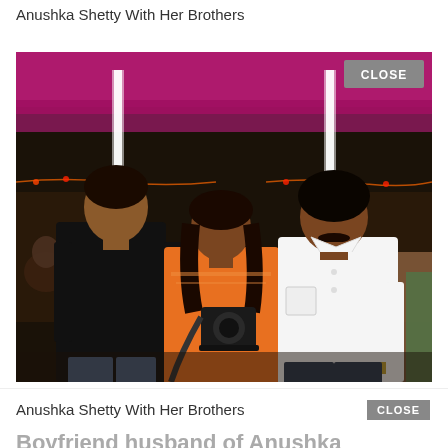Anushka Shetty With Her Brothers
[Figure (photo): Three people posing together at an outdoor event with decorative lights and tent. A woman in orange salwar suit holds a camera, flanked by two men, one in black t-shirt and one in white shirt. A CLOSE button appears in the top right corner of the photo.]
Anushka Shetty With Her Brothers
Boyfriend husband of Anushka